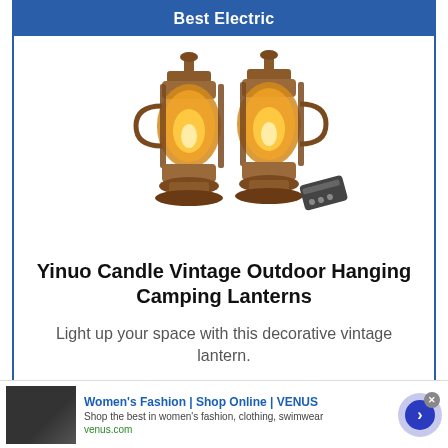Best Electric
[Figure (photo): Two vintage bronze-style camping lanterns with warm glowing flame-effect bulbs, one with a black remote control visible beside it]
Yinuo Candle Vintage Outdoor Hanging Camping Lanterns
Light up your space with this decorative vintage lantern.
AMAZON
Women's Fashion | Shop Online | VENUS
Shop the best in women's fashion, clothing, swimwear
venus.com